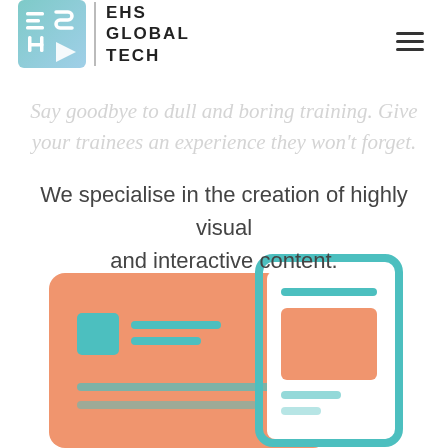[Figure (logo): EHS Global Tech logo with colorful square icon and bold text]
Make your training fun
Say goodbye to dull and boring training. Give your trainees an experience they won't forget.
We specialise in the creation of highly visual and interactive content.
[Figure (illustration): Colorful illustration of a tablet and phone with UI elements in salmon and teal colors]